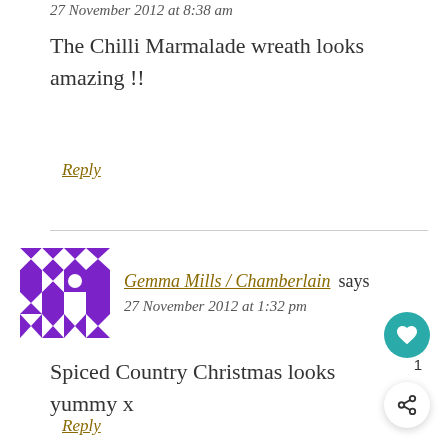27 November 2012 at 8:38 am
The Chilli Marmalade wreath looks amazing !!
Reply
Gemma Mills / Chamberlain says
27 November 2012 at 1:32 pm
Spiced Country Christmas looks yummy x
Reply